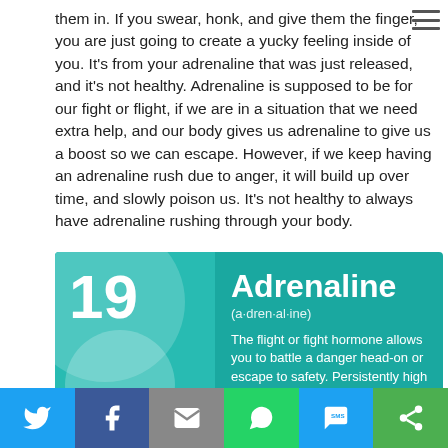them in. If you swear, honk, and give them the finger, you are just going to create a yucky feeling inside of you. It's from your adrenaline that was just released, and it's not healthy. Adrenaline is supposed to be for our fight or flight, if we are in a situation that we need extra help, and our body gives us adrenaline to give us a boost so we can escape. However, if we keep having an adrenaline rush due to anger, it will build up over time, and slowly poison us. It's not healthy to always have adrenaline rushing through your body.
[Figure (infographic): Infographic card with number 19, title 'Adrenaline', phonetic pronunciation '(a·dren·al·ine)', and description about the flight or fight hormone. Teal background with circular decorative elements.]
[Figure (infographic): Social sharing bar with Twitter, Facebook, Email, WhatsApp, SMS, and Share buttons.]